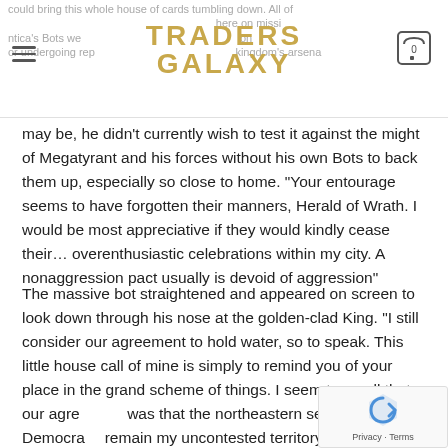could bring this whole house of cards tumbling down. All of Antica's Bots were... here on mission or undergoing rep... kingdom's arsenal
may be, he didn't currently wish to test it against the might of Megatyrant and his forces without his own Bots to back them up, especially so close to home. “Your entourage seems to have forgotten their manners, Herald of Wrath. I would be most appreciative if they would kindly cease their… overenthusiastic celebrations within my city. A nonaggression pact usually is devoid of aggression”
The massive bot straightened and appeared on screen to look down through his nose at the golden-clad King. "I still consider our agreement to hold water, so to speak. This little house call of mine is simply to remind you of your place in the grand scheme of things. I seem to recall that our agreement was that the northeastern seaboard of the Democracy remain my uncontested territory, yet your forces have m...